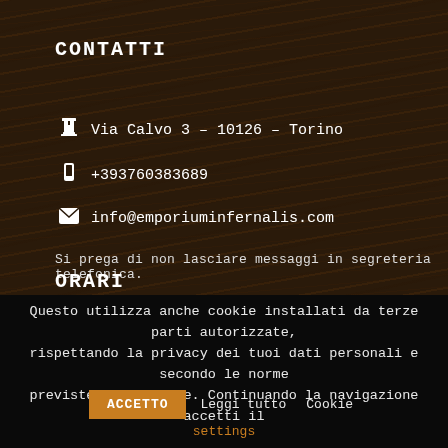CONTATTI
🏰 Via Calvo 3 – 10126 – Torino
📱 +393760383689
✉ info@emporiuminfernalis.com
Si prega di non lasciare messaggi in segreteria telefonica.
ORARI
Questo utilizza anche cookie installati da terze parti autorizzate, rispettando la privacy dei tuoi dati personali e secondo le norme previste dalla legge. Continuando la navigazione accetti il servizio e gli stessi cookie.
ACCETTO   Leggi tutto   Cookie settings